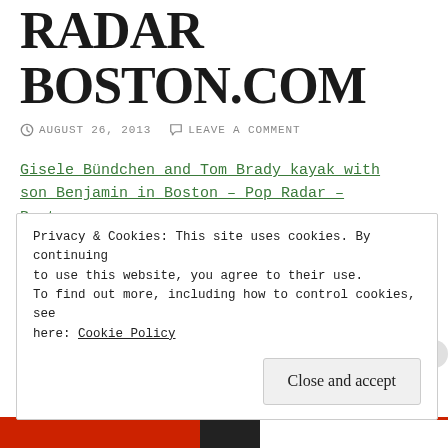RADAR BOSTON.COM
AUGUST 26, 2013   LEAVE A COMMENT
Gisele Bündchen and Tom Brady kayak with son Benjamin in Boston – Pop Radar – Boston.com.
SHARE THIS:
Privacy & Cookies: This site uses cookies. By continuing to use this website, you agree to their use.
To find out more, including how to control cookies, see here: Cookie Policy
Close and accept